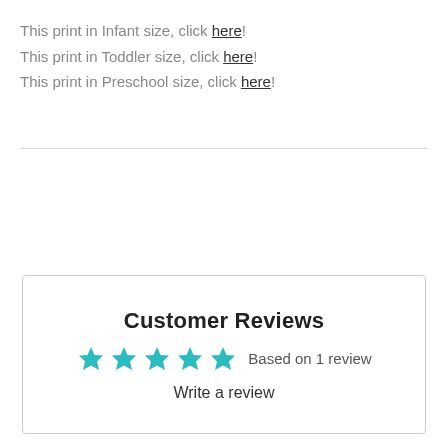This print in Infant size, click here!
This print in Toddler size, click here!
This print in Preschool size, click here!
Customer Reviews
★★★★★ Based on 1 review
Write a review